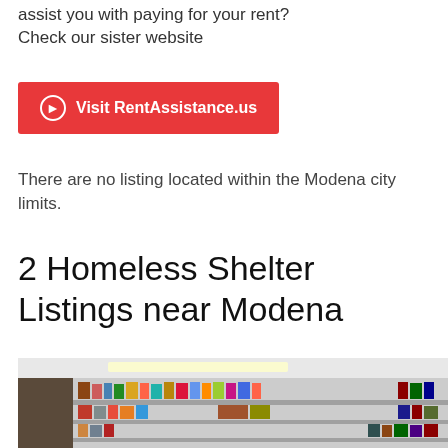assist you with paying for your rent? Check our sister website
Visit RentAssistance.us
There are no listing located within the Modena city limits.
2 Homeless Shelter Listings near Modena
[Figure (photo): Interior of a food pantry/shelter showing shelves stocked with canned goods, boxes, and food items. A person is partially visible on the left side.]